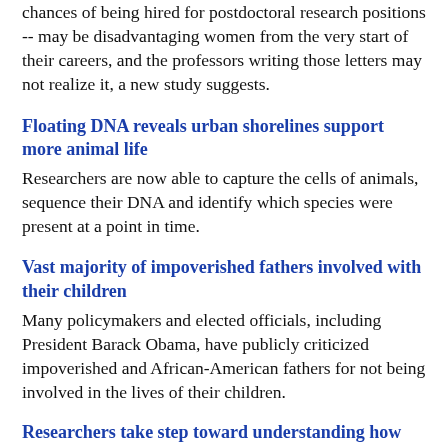chances of being hired for postdoctoral research positions -- may be disadvantaging women from the very start of their careers, and the professors writing those letters may not realize it, a new study suggests.
Floating DNA reveals urban shorelines support more animal life
Researchers are now able to capture the cells of animals, sequence their DNA and identify which species were present at a point in time.
Vast majority of impoverished fathers involved with their children
Many policymakers and elected officials, including President Barack Obama, have publicly criticized impoverished and African-American fathers for not being involved in the lives of their children.
Researchers take step toward understanding how